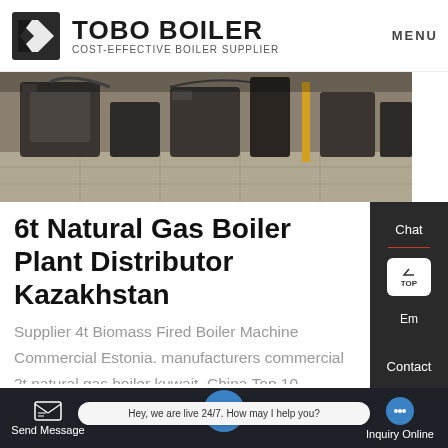TOBO BOILER — COST-EFFECTIVE BOILER SUPPLIER | MENU
[Figure (photo): Industrial boiler plant facility interior showing heavy machinery and equipment on a factory floor]
6t Natural Gas Boiler Plant Distributor Kazakhstan
Supplier 4t Biomass Fired Boiler Machine Commercial Estonia. manufacturers commercial 2t natural gas boiler kuwait. China Top 10 Manufacturer 1-20 ton Per Hour Industrial Oil Gas Fired Steam Boiler Supplier. wood or coal 3T 4T 5T steam boiler - sigmaster.pl gas fired steam Boiler 3t 6t
Send Message | Hey, we are live 24/7. How may I help you? | Inquiry Online